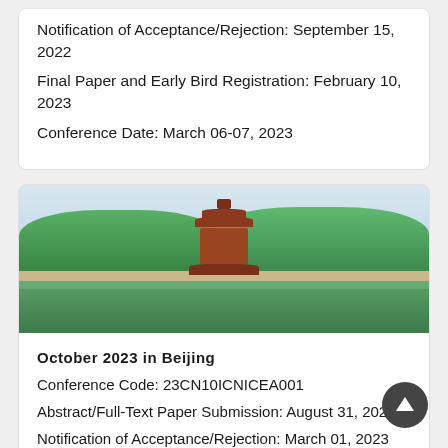Notification of Acceptance/Rejection: September 15, 2022
Final Paper and Early Bird Registration: February 10, 2023
Conference Date: March 06-07, 2023
[Figure (photo): Photograph of a traditional Chinese pagoda/tower at the corner of the Forbidden City surrounded by moat water and green trees]
October 2023 in Beijing
Conference Code: 23CN10ICNICEA001
Abstract/Full-Text Paper Submission: August 31, 2022
Notification of Acceptance/Rejection: March 01, 2023
Final Paper and Early Bird Registration: September 06,